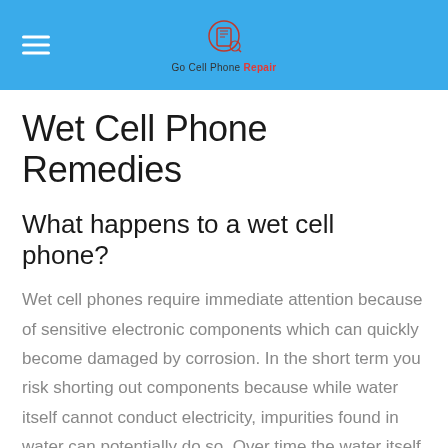Go Cell Phone Repair
Wet Cell Phone Remedies
What happens to a wet cell phone?
Wet cell phones require immediate attention because of sensitive electronic components which can quickly become damaged by corrosion. In the short term you risk shorting out components because while water itself cannot conduct electricity, impurities found in water can potentially do so. Over time the water itself will evaporate